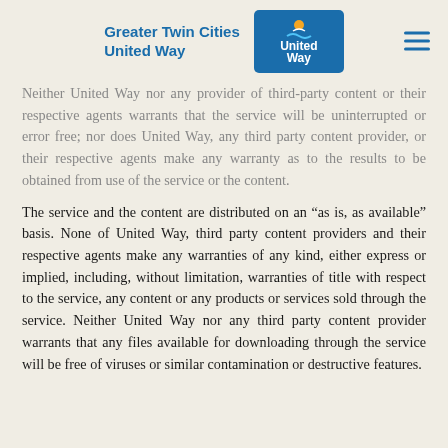Greater Twin Cities United Way | United Way logo | hamburger menu
Neither United Way nor any provider of third-party content or their respective agents warrants that the service will be uninterrupted or error free; nor does United Way, any third party content provider, or their respective agents make any warranty as to the results to be obtained from use of the service or the content.
The service and the content are distributed on an “as is, as available” basis. None of United Way, third party content providers and their respective agents make any warranties of any kind, either express or implied, including, without limitation, warranties of title with respect to the service, any content or any products or services sold through the service. Neither United Way nor any third party content provider warrants that any files available for downloading through the service will be free of viruses or similar contamination or destructive features.